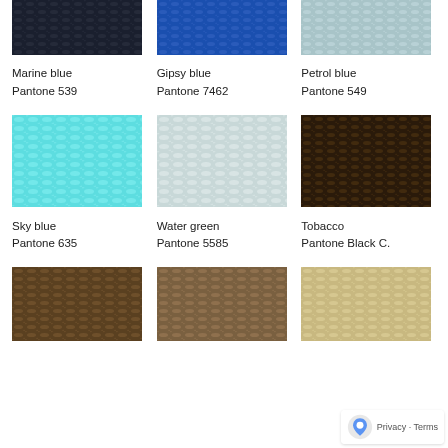[Figure (photo): Marine blue fabric texture swatch (Pantone 539)]
[Figure (photo): Gipsy blue fabric texture swatch (Pantone 7462)]
[Figure (photo): Petrol blue fabric texture swatch (Pantone 549)]
Marine blue
Pantone 539
Gipsy blue
Pantone 7462
Petrol blue
Pantone 549
[Figure (photo): Sky blue fabric texture swatch (Pantone 635)]
[Figure (photo): Water green fabric texture swatch (Pantone 5585)]
[Figure (photo): Tobacco fabric texture swatch (Pantone Black C.)]
Sky blue
Pantone 635
Water green
Pantone 5585
Tobacco
Pantone Black C.
[Figure (photo): Brown fabric texture swatch (bottom left)]
[Figure (photo): Brown-tan fabric texture swatch (bottom center)]
[Figure (photo): Beige fabric texture swatch (bottom right)]